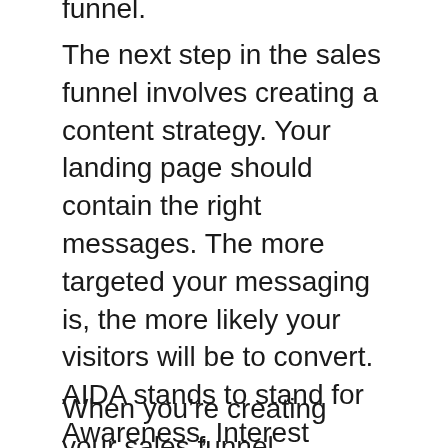funnel.
The next step in the sales funnel involves creating a content strategy. Your landing page should contain the right messages. The more targeted your messaging is, the more likely your visitors will be to convert. AIDA stands to stand for Awareness, Interest Decision, Action and Decision. Each stage represents the mindset of a potential customer. While it is crucial to use the correct messages at the right times, the wrong message may send the wrong message.
When you’re creating your sales funnel, consider how you can customize it to your business. Your target customers’ behavior